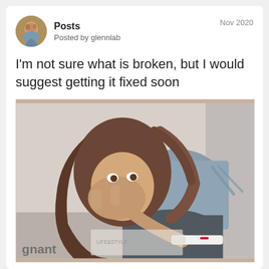Posts | Posted by glennlab | Nov 2020
I'm not sure what is broken, but I would suggest getting it fixed soon
[Figure (photo): A young woman with long brown hair sitting down, covering her mouth with her hand in shock/laughter, holding what appears to be a pregnancy test. The word 'pregnant' is partially visible at the bottom of the image.]